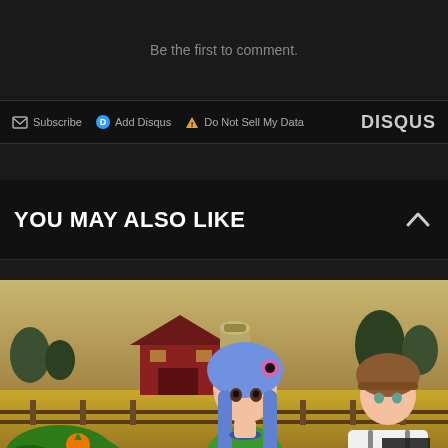Be the first to comment.
Subscribe  Add Disqus  Do Not Sell My Data  DISQUS
YOU MAY ALSO LIKE
[Figure (illustration): Anime-style visual novel game art showing a girl with blue hair and a pink flower wearing a green top, a boy in suspenders, set against a farm backdrop with a red barn and silo. Text 'Pumpkin' in orange stylized letters at the bottom.]